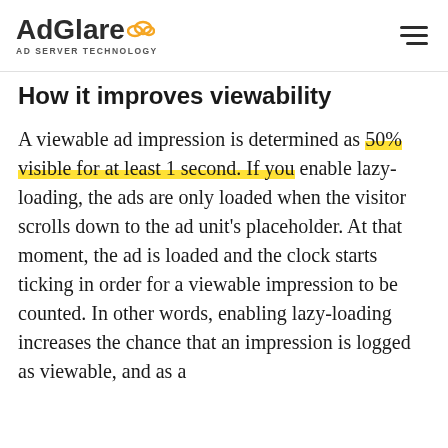AdGlare AD SERVER TECHNOLOGY
How it improves viewability
A viewable ad impression is determined as 50% visible for at least 1 second. If you enable lazy-loading, the ads are only loaded when the visitor scrolls down to the ad unit's placeholder. At that moment, the ad is loaded and the clock starts ticking in order for a viewable impression to be counted. In other words, enabling lazy-loading increases the chance that an impression is logged as viewable, and as a